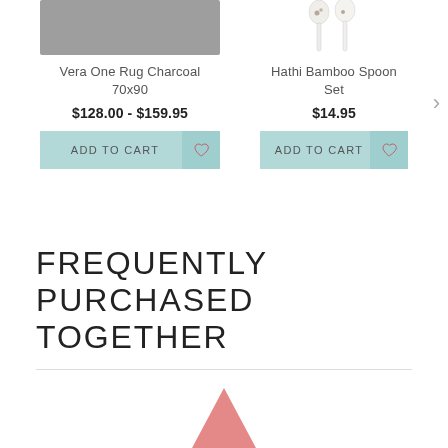[Figure (photo): Partial product image of Vera One Rug Charcoal 70x90 (grey rectangle, cut off at top)]
Vera One Rug Charcoal 70x90
$128.00 - $159.95
ADD TO CART
[Figure (photo): Partial product image of Hathi Bamboo Spoon Set (two spoon silhouettes)]
Hathi Bamboo Spoon Set
$14.95
ADD TO CART
FREQUENTLY PURCHASED TOGETHER
[Figure (photo): Bottom portion of a product image showing a red/coral triangular shape, partially visible]